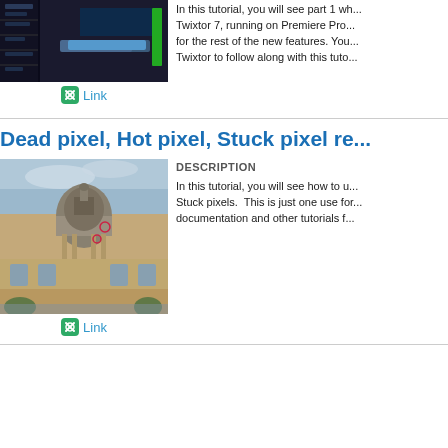[Figure (screenshot): Screenshot of video editing software (dark UI, blue highlights, green element visible)]
In this tutorial, you will see part 1 wh... Twixtor 7, running on Premiere Pro... for the rest of the new features. You... Twixtor to follow along with this tuto...
[Figure (other): Link button with chain-link icon]
Dead pixel, Hot pixel, Stuck pixel re...
[Figure (photo): Photo of a large classical domed building (Paris, Institut de France) with cloudy sky, small red circle markers on the image]
DESCRIPTION
In this tutorial, you will see how to u... Stuck pixels. This is just one use for... documentation and other tutorials f...
[Figure (other): Link button with chain-link icon]